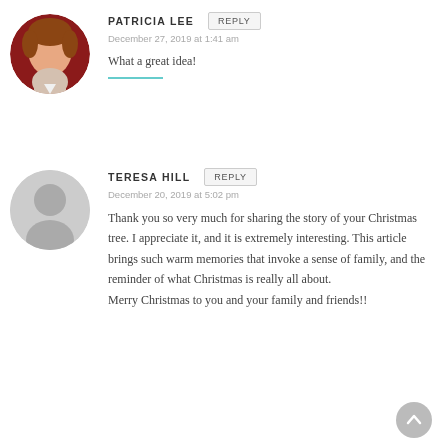[Figure (photo): Circular avatar photo of Patricia Lee, a woman with short brown hair against a dark red background]
PATRICIA LEE
REPLY
December 27, 2019 at 1:41 am
What a great idea!
[Figure (illustration): Circular gray placeholder avatar icon for Teresa Hill]
TERESA HILL
REPLY
December 20, 2019 at 5:02 pm
Thank you so very much for sharing the story of your Christmas tree. I appreciate it, and it is extremely interesting. This article brings such warm memories that invoke a sense of family, and the reminder of what Christmas is really all about.
Merry Christmas to you and your family and friends!!